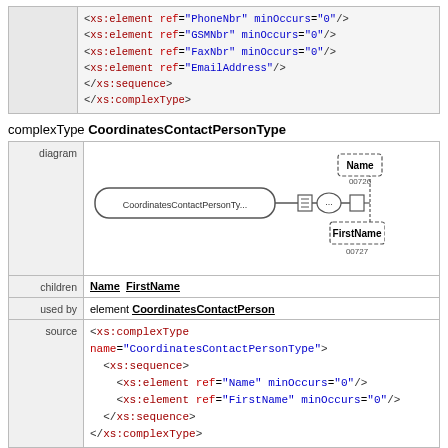<xs:element ref="PhoneNbr" minOccurs="0"/>
<xs:element ref="GSMNbr" minOccurs="0"/>
<xs:element ref="FaxNbr" minOccurs="0"/>
<xs:element ref="EmailAddress"/>
</xs:sequence>
</xs:complexType>
complexType CoordinatesContactPersonType
|  |  |
| --- | --- |
| diagram | [diagram of CoordinatesContactPersonTy... with Name (00726) and FirstName (00727)] |
| children | Name FirstName |
| used by | element CoordinatesContactPerson |
| source | <xs:complexType name="CoordinatesContactPersonType">
  <xs:sequence>
    <xs:element ref="Name" minOccurs="0"/>
    <xs:element ref="FirstName" minOccurs="0"/>
  </xs:sequence>
</xs:complexType> |